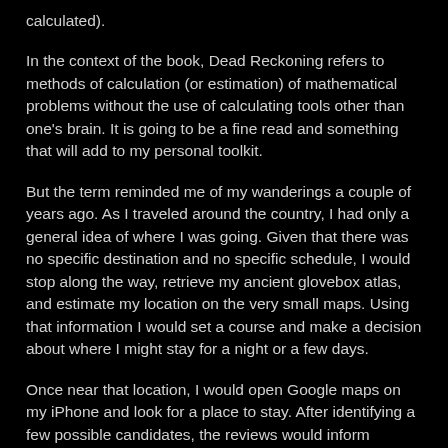calculated).
In the context of the book, Dead Reckoning refers to methods of calculation (or estimation) of mathematical problems without the use of calculating tools other than one's brain. It is going to be a fine read and something that will add to my personal toolkit.
But the term reminded me of my wanderings a couple of years ago. As I traveled around the country, I had only a general idea of where I was going. Given that there was no specific destination and no specific schedule, I would stop along the way, retrieve my ancient glovebox atlas, and estimate my location on the very small maps. Using that information I would set a course and make a decision about where I might stay for a night or a few days.
Once near that location, I would open Google maps on my iPhone and look for a place to stay. After identifying a few possible candidates, the reviews would inform whether the place was acceptable. I would then either just drive in or phone ahead for a reservation.
I thought of this as an automotive form of dead reckoning. Given